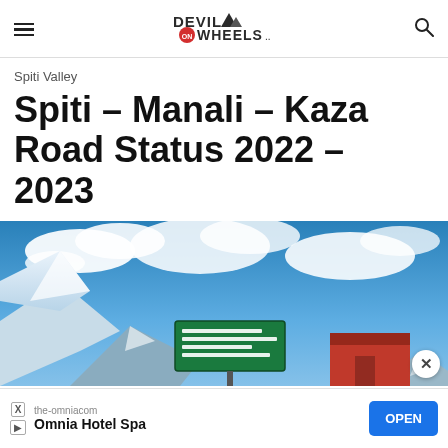Devil on Wheels — Travel. Off the Road...
Spiti Valley
Spiti – Manali – Kaza Road Status 2022 – 2023
[Figure (photo): Road sign at a mountain pass with blue sky and clouds; snow-capped mountains visible. Green directional sign with destinations including Kunzum Top.]
the-omniacom
Omnia Hotel Spa
OPEN